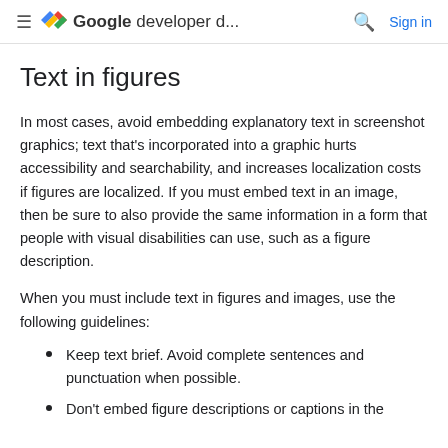≡ <> Google developer d... 🔍 Sign in
Text in figures
In most cases, avoid embedding explanatory text in screenshot graphics; text that's incorporated into a graphic hurts accessibility and searchability, and increases localization costs if figures are localized. If you must embed text in an image, then be sure to also provide the same information in a form that people with visual disabilities can use, such as a figure description.
When you must include text in figures and images, use the following guidelines:
Keep text brief. Avoid complete sentences and punctuation when possible.
Don't embed figure descriptions or captions in the